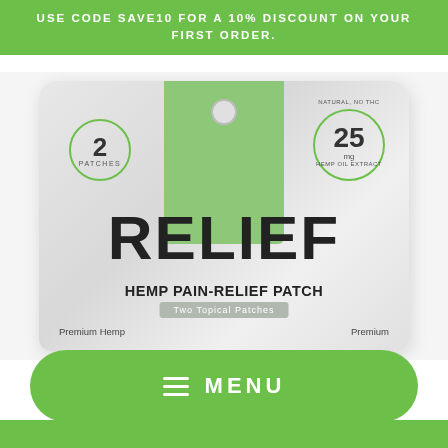USE CODE SAVE10 FOR A 10% DISCOUNT ON YOUR FIRST ORDER.
[Figure (photo): Product photo of Hemp Pain-Relief Patch pouch. White/gray pouch with green center panel and hang hole. Left badge shows '2 PATCHES', right badge shows '25 mg HEMP OIL EXTRACT / NATURAL, NO THC'. Large bold text reads 'RELIEF' then 'HEMP PAIN-RELIEF PATCH' and 'Two Topical Patches'. Bottom shows 'Premium Hemp' and 'Premium'.]
MENU